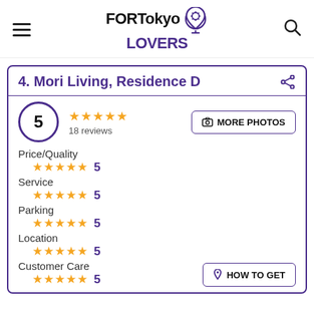FOR Tokyo LOVERS
4. Mori Living, Residence D
5  ★★★★★  18 reviews
MORE PHOTOS
Price/Quality  ★★★★★  5
Service  ★★★★★  5
Parking  ★★★★★  5
Location  ★★★★★  5
Customer Care  ★★★★★  5
HOW TO GET